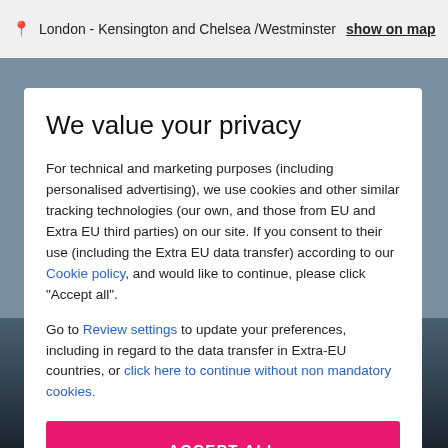London - Kensington and Chelsea /Westminster  show on map
[Figure (screenshot): Background showing a blurred stage/venue scene with performers, with a horizontal divider line visible]
We value your privacy
For technical and marketing purposes (including personalised advertising), we use cookies and other similar tracking technologies (our own, and those from EU and Extra EU third parties) on our site. If you consent to their use (including the Extra EU data transfer) according to our Cookie policy, and would like to continue, please click "Accept all".
Go to Review settings to update your preferences, including in regard to the data transfer in Extra-EU countries, or click here to continue without non mandatory cookies.
ACCEPT ALL